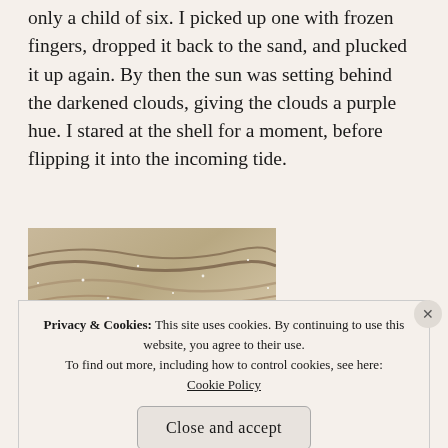only a child of six. I picked up one with frozen fingers, dropped it back to the sand, and plucked it up again. By then the sun was setting behind the darkened clouds, giving the clouds a purple hue. I stared at the shell for a moment, before flipping it into the incoming tide.
[Figure (photo): Close-up photograph of wet sand with rippled texture and small sparkling specks, likely a beach scene.]
Privacy & Cookies: This site uses cookies. By continuing to use this website, you agree to their use. To find out more, including how to control cookies, see here: Cookie Policy
Close and accept